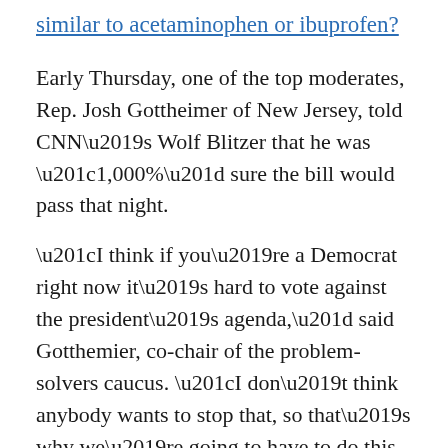similar to acetaminophen or ibuprofen?
Early Thursday, one of the top moderates, Rep. Josh Gottheimer of New Jersey, told CNN’s Wolf Blitzer that he was “1,000%” sure the bill would pass that night.
“I think if you’re a Democrat right now it’s hard to vote against the president’s agenda,” said Gotthemier, co-chair of the problem-solvers caucus. “I don’t think anybody wants to stop that, so that’s why we’re going to have to do this and achieve this great bipartisan victory for the country.”
One of the most prominent members of the